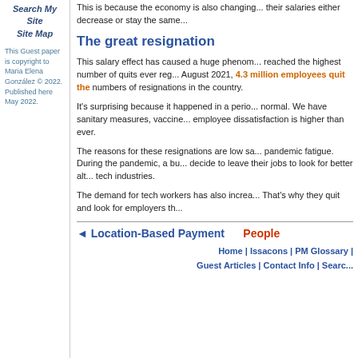Search My Site
Site Map
This Guest paper is copyright to Maria Elena González © 2022. Published here May 2022.
This is because the economy is also changing... their salaries either decrease or stay the same...
The great resignation
This salary effect has caused a huge phenomenon... reached the highest number of quits ever registered. In August 2021, 4.3 million employees quit the... numbers of resignations in the country.
It's surprising because it happened in a period... normal. We have sanitary measures, vaccines... employee dissatisfaction is higher than ever.
The reasons for these resignations are low salaries... pandemic fatigue. During the pandemic, a burnout... decide to leave their jobs to look for better alternatives... tech industries.
The demand for tech workers has also increased... That's why they quit and look for employers that...
◄ Location-Based Payment    People
Home | Issacons | PM Glossary | Guest Articles | Contact Info | Search